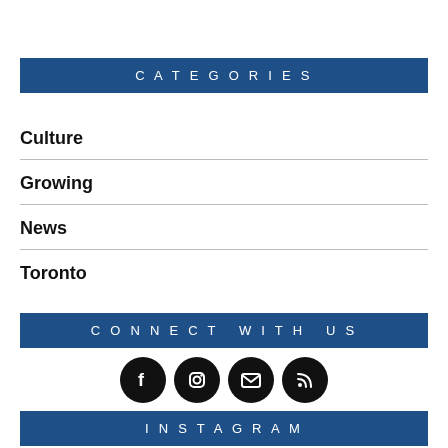CATEGORIES
Culture
Growing
News
Toronto
CONNECT WITH US
[Figure (illustration): Four social media icon buttons in black circles: Facebook, Instagram, Email, RSS]
INSTAGRAM